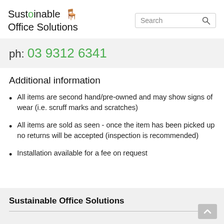Sustainable Office Solutions — Search
ph: 03 9312 6341
Additional information
All items are second hand/pre-owned and may show signs of wear (i.e. scruff marks and scratches)
All items are sold as seen - once the item has been picked up no returns will be accepted (inspection is recommended)
Installation available for a fee on request
Sustainable Office Solutions